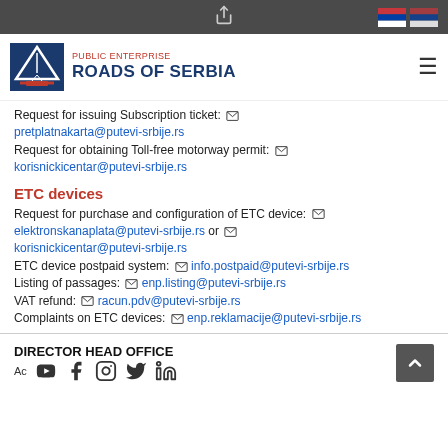Public Enterprise Roads of Serbia - website header with logo and navigation
Request for issuing Subscription ticket: pretplatnakarta@putevi-srbije.rs
Request for obtaining Toll-free motorway permit: korisnickicentar@putevi-srbije.rs
ETC devices
Request for purchase and configuration of ETC device: elektronskanaplata@putevi-srbije.rs or korisnickicentar@putevi-srbije.rs
ETC device postpaid system: info.postpaid@putevi-srbije.rs
Listing of passages: enp.listing@putevi-srbije.rs
VAT refund: racun.pdv@putevi-srbije.rs
Complaints on ETC devices: enp.reklamacije@putevi-srbije.rs
DIRECTOR HEAD OFFICE
Ac [social media icons: YouTube, Facebook, Instagram, Twitter, LinkedIn]